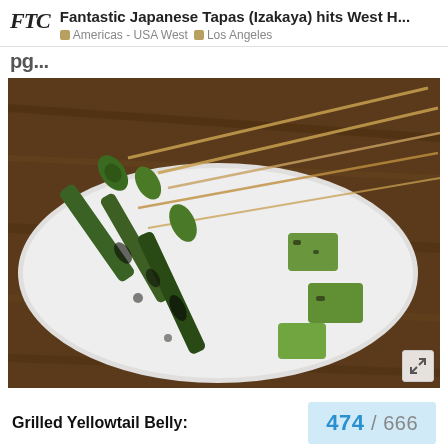FTC  Fantastic Japanese Tapas (Izakaya) hits West H...  Americas - USA West  Los Angeles
pg...
[Figure (photo): Grilled asparagus skewers on a white ceramic plate, placed on a wooden table. Multiple green asparagus spears are threaded on bamboo skewers with char marks from grilling.]
Grilled Yellowtail Belly:
474 / 666